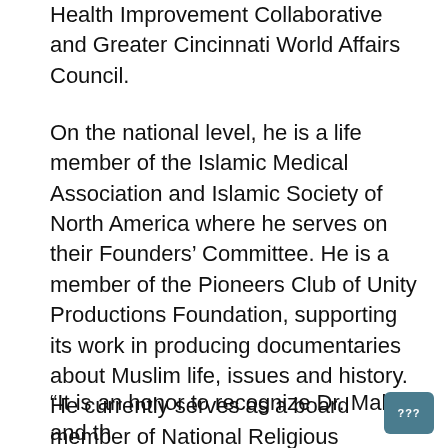Health Improvement Collaborative and Greater Cincinnati World Affairs Council.
On the national level, he is a life member of the Islamic Medical Association and Islamic Society of North America where he serves on their Founders' Committee. He is a member of the Pioneers Club of Unity Productions Foundation, supporting its work in producing documentaries about Muslim life, issues and history. He currently serves as a board member of National Religious Campaign Against Torture, a Washington, D.C.-based organization striving to outlaw torture as a national policy.
“It is an honor to recognize Dr. Malik and the work he has done in Cincinnati and nationally to promote interfaith cooperation,” said Dr.